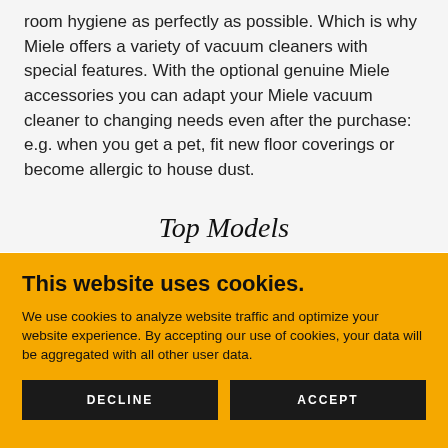room hygiene as perfectly as possible. Which is why Miele offers a variety of vacuum cleaners with special features. With the optional genuine Miele accessories you can adapt your Miele vacuum cleaner to changing needs even after the purchase: e.g. when you get a pet, fit new floor coverings or become allergic to house dust.
Top Models
This website uses cookies.
We use cookies to analyze website traffic and optimize your website experience. By accepting our use of cookies, your data will be aggregated with all other user data.
DECLINE
ACCEPT